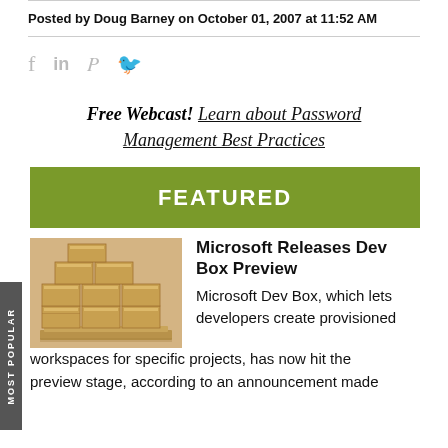Posted by Doug Barney on October 01, 2007 at 11:52 AM
[Figure (infographic): Social media sharing icons: Facebook (f), LinkedIn (in), Twitter (bird icon)]
Free Webcast! Learn about Password Management Best Practices
FEATURED
Microsoft Releases Dev Box Preview
Microsoft Dev Box, which lets developers create provisioned workspaces for specific projects, has now hit the preview stage, according to an announcement made